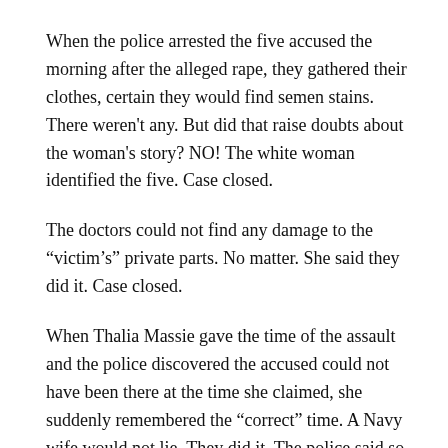When the police arrested the five accused the morning after the alleged rape, they gathered their clothes, certain they would find semen stains. There weren't any. But did that raise doubts about the woman's story? NO! The white woman identified the five. Case closed.
The doctors could not find any damage to the “victim’s” private parts. No matter. She said they did it. Case closed.
When Thalia Massie gave the time of the assault and the police discovered the accused could not have been there at the time she claimed, she suddenly remembered the “correct” time. A Navy wife would not lie. They did it. The police said so. The newspapers said so. Case closed.
But then twelve men heard the evidence. The strength of our Constitution is that by it the people set a minimum they